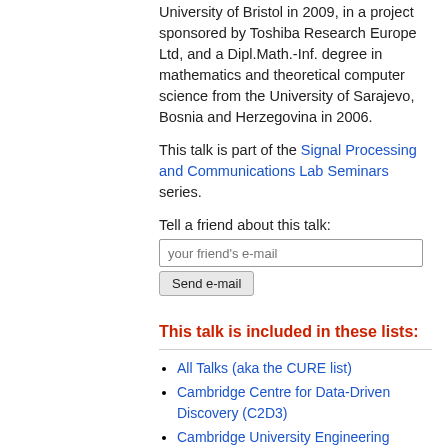University of Bristol in 2009, in a project sponsored by Toshiba Research Europe Ltd, and a Dipl.Math.-Inf. degree in mathematics and theoretical computer science from the University of Sarajevo, Bosnia and Herzegovina in 2006.
This talk is part of the Signal Processing and Communications Lab Seminars series.
Tell a friend about this talk:
This talk is included in these lists:
All Talks (aka the CURE list)
Cambridge Centre for Data-Driven Discovery (C2D3)
Cambridge University Engineering Department Talks